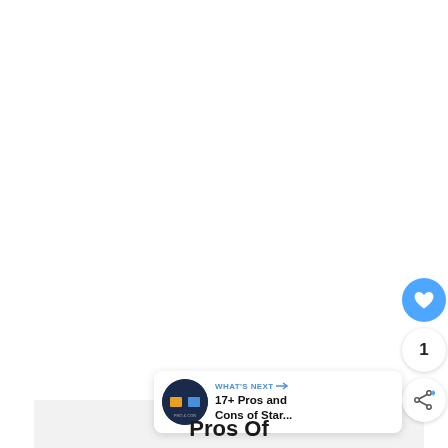[Figure (screenshot): Web page screenshot showing a white content area, UI buttons (heart/like button in blue, count bubble showing 1, share button), a 'What's Next' recommendation banner with thumbnail and text '17+ Pros and Cons of Star...', and a partial section title 'Pros Of' at the bottom on a light gray background.]
Pros Of